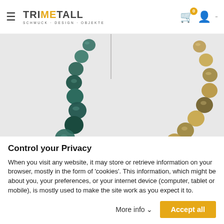TRIMETALL - SCHMUCK · DESIGN · OBJEKTE
[Figure (photo): Two product photos side by side: left shows a strand of dark teal/green stone beads on a light background; right shows a strand of golden/olive agate or stone beads on a light background. A vertical divider line separates the two images at the top.]
Control your Privacy
When you visit any website, it may store or retrieve information on your browser, mostly in the form of 'cookies'. This information, which might be about you, your preferences, or your internet device (computer, tablet or mobile), is mostly used to make the site work as you expect it to.